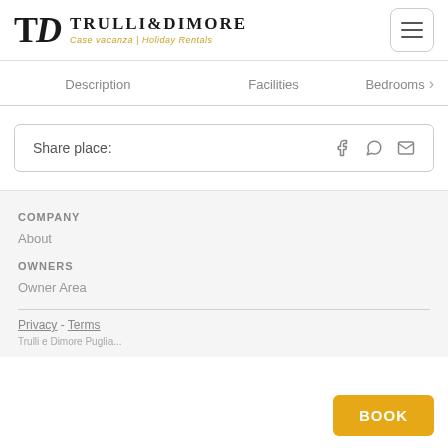[Figure (logo): Trulli & Dimore logo with stylized TD monogram and text 'TRULLI&DIMORE Case vacanza | Holiday Rentals']
Description   Facilities   Bedrooms >
Share place:
COMPANY
About
OWNERS
Owner Area
Privacy - Terms
Trulli e Dimore Puglia...